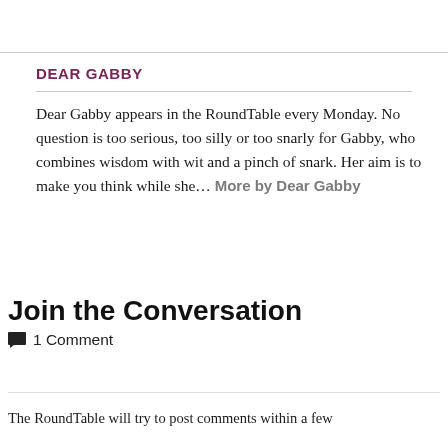DEAR GABBY
Dear Gabby appears in the RoundTable every Monday. No question is too serious, too silly or too snarly for Gabby, who combines wisdom with wit and a pinch of snark. Her aim is to make you think while she… More by Dear Gabby
Join the Conversation
1 Comment
The RoundTable will try to post comments within a few